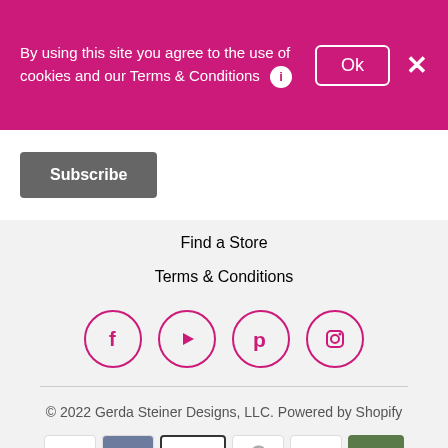By using this site you agree to the use of cookies and our Terms & Conditions
Subscribe
Find a Store
Terms & Conditions
[Figure (infographic): Four social media icons in circles (Facebook, YouTube, Pinterest, Instagram) with magenta/pink outlines]
© 2022 Gerda Steiner Designs, LLC. Powered by Shopify
[Figure (infographic): Payment method badges: Amazon, AMEX, Apple Pay, Diners Club, Discover, and partial second row]